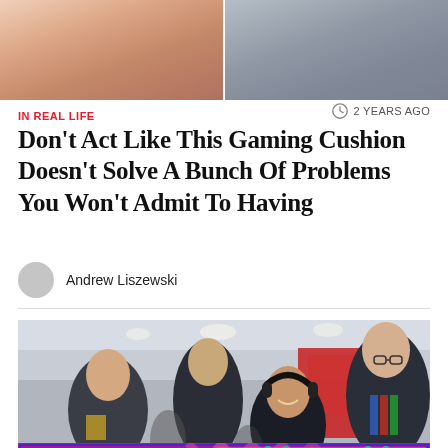[Figure (photo): Two cropped photos side by side: left shows hands/fingers on a surface, right shows gray fabric/cushion material]
IN REAL LIFE
2 YEARS AGO
Don't Act Like This Gaming Cushion Doesn't Solve A Bunch Of Problems You Won't Admit To Having
Andrew Liszewski
[Figure (photo): Photo of people at a gaming convention or event, including a woman with headphones smiling, and men in the background]
[Figure (logo): Kotaku advertisement banner with pink/red background, Kotaku logo on left and 'CLICK HERE' button on right with diagonal stripe design]